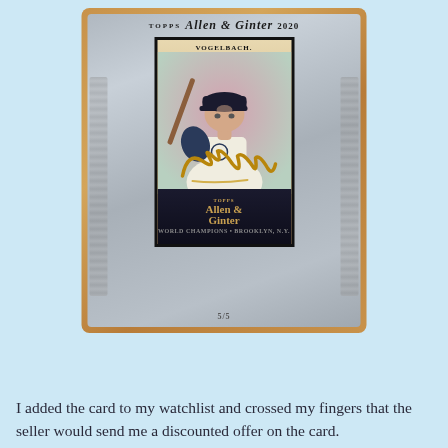[Figure (photo): 2020 Topps Allen & Ginter baseball card of Vogelbach, numbered 5/5, showing player in Seattle Mariners uniform with gold autograph signature, mounted in a wood-framed silver plaque holder]
I added the card to my watchlist and crossed my fingers that the seller would send me a discounted offer on the card.